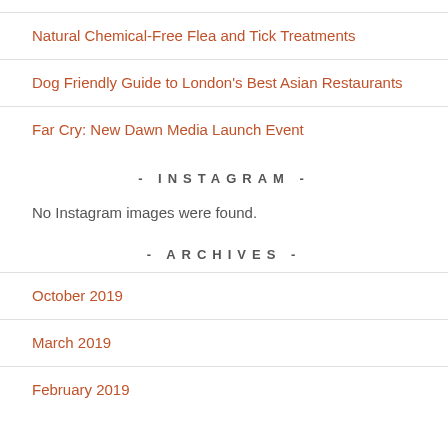Natural Chemical-Free Flea and Tick Treatments
Dog Friendly Guide to London's Best Asian Restaurants
Far Cry: New Dawn Media Launch Event
- INSTAGRAM -
No Instagram images were found.
- ARCHIVES -
October 2019
March 2019
February 2019